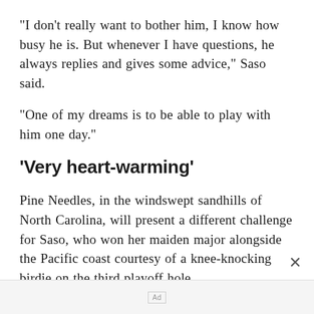"I don't really want to bother him, I know how busy he is. But whenever I have questions, he always replies and gives some advice," Saso said.
"One of my dreams is to be able to play with him one day."
'Very heart-warming'
Pine Needles, in the windswept sandhills of North Carolina, will present a different challenge for Saso, who won her maiden major alongside the Pacific coast courtesy of a knee-knocking birdie on the third playoff hole.